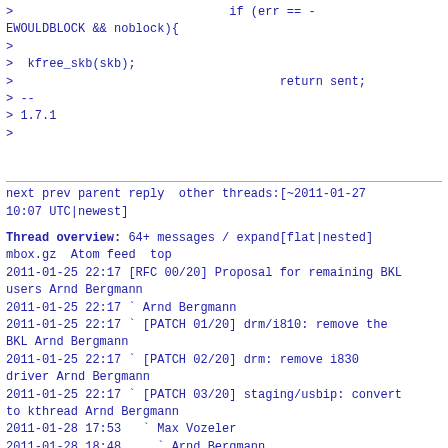>                              if (err == -EWOULDBLOCK && noblock){
>
>  kfree_skb(skb);
>                                     return sent;
> --
> 1.7.1
>
next prev parent reply  other threads:[~2011-01-27 10:07 UTC|newest]
Thread overview: 64+ messages / expand[flat|nested]
mbox.gz  Atom feed  top
2011-01-25 22:17 [RFC 00/20] Proposal for remaining BKL users Arnd Bergmann
2011-01-25 22:17 ` Arnd Bergmann
2011-01-25 22:17 ` [PATCH 01/20] drm/i810: remove the BKL Arnd Bergmann
2011-01-25 22:17 ` [PATCH 02/20] drm: remove i830 driver Arnd Bergmann
2011-01-25 22:17 ` [PATCH 03/20] staging/usbip: convert to kthread Arnd Bergmann
2011-01-28 17:53   ` Max Vozeler
2011-01-28 18:48     ` Arnd Bergmann
2011-03-01 22:15     ` Arnd Bergmann
2011-01-25 22:17 ` [PATCH 04/20] staging/cx25721: serialize access to devlist Arnd Bergmann
2011-01-26 16:23   ` Palash Bandyopadhyay